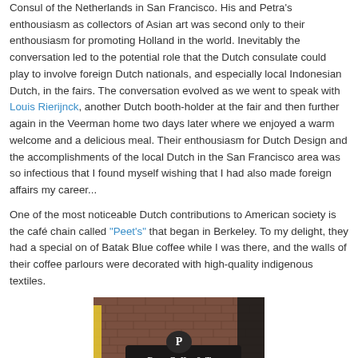Consul of the Netherlands in San Francisco. His and Petra's enthousiasm as collectors of Asian art was second only to their enthousiasm for promoting Holland in the world. Inevitably the conversation led to the potential role that the Dutch consulate could play to involve foreign Dutch nationals, and especially local Indonesian Dutch, in the fairs. The conversation evolved as we went to speak with Louis Rierijnck, another Dutch booth-holder at the fair and then further again in the Veerman home two days later where we enjoyed a warm welcome and a delicious meal. Their enthousiasm for Dutch Design and the accomplishments of the local Dutch in the San Francisco area was so infectious that I found myself wishing that I had also made foreign affairs my career...
One of the most noticeable Dutch contributions to American society is the café chain called "Peet's" that began in Berkeley. To my delight, they had a special on of Batak Blue coffee while I was there, and the walls of their coffee parlours were decorated with high-quality indigenous textiles.
[Figure (photo): Photo of a Peets Coffee & Tea store sign, brown brick wall background with a dark rectangular sign reading 'Peets Coffee & Tea' with a 'P' logo above it. A yellow parking post is visible on the left.]